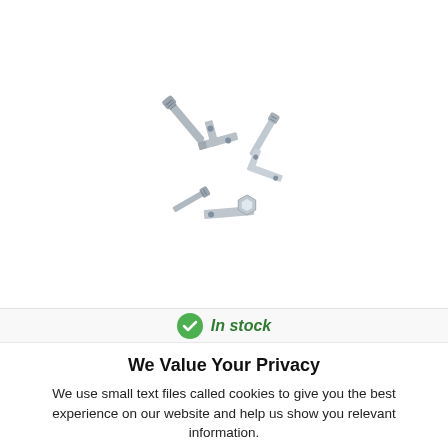[Figure (photo): Product image showing scattered metallic screws, bolts, and hardware pieces on a white background]
In stock
We Value Your Privacy
We use small text files called cookies to give you the best experience on our website and help us show you relevant information.
You can choose whether to manage these or allow them all.
View Cookie Policy.
Manage cookies
Allow All